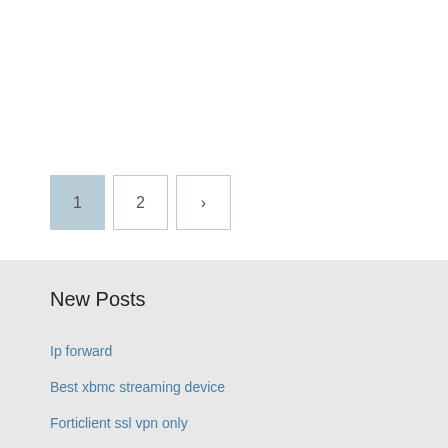[Figure (other): Pagination control with three boxes: page 1 (active, shaded blue-grey), page 2 (inactive, white with border), and a next arrow button (inactive, white with border)]
New Posts
Ip forward
Best xbmc streaming device
Forticlient ssl vpn only